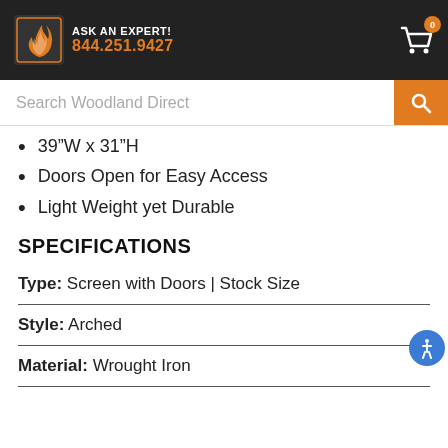ASK AN EXPERT! 844.251.9427
Search Woodland Direct
39”W x 31”H
Doors Open for Easy Access
Light Weight yet Durable
SPECIFICATIONS
Type: Screen with Doors | Stock Size
Style: Arched
Material: Wrought Iron